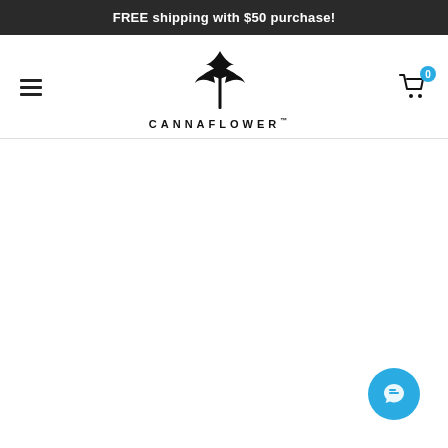FREE shipping with $50 purchase!
[Figure (logo): Cannaflower logo: cannabis leaf above the text CANNAFLOWER with a trademark symbol]
[Figure (illustration): Shopping cart icon with a blue badge showing the number 0]
[Figure (illustration): Blue circular chat/support button icon in the bottom right corner]